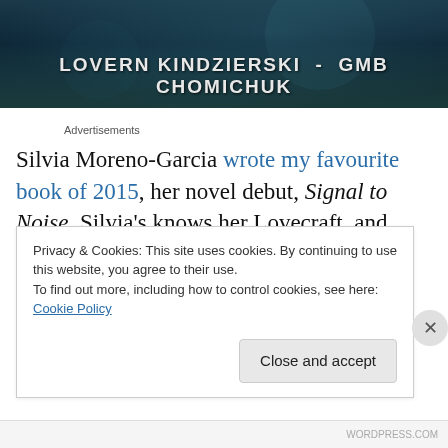[Figure (illustration): Book cover banner image with dark teal/blue background showing authors names: LOVERN KINDZIERSKI - GMB CHOMICHUK in bold white serif letters]
Advertisements
Silvia Moreno-Garcia wrote my favourite book of 2015, her novel debut, Signal to Noise. Silvia's knows her Lovecraft, and everyone involved in Shared World was chuffed when
Privacy & Cookies: This site uses cookies. By continuing to use this website, you agree to their use.
To find out more, including how to control cookies, see here: Cookie Policy
Close and accept